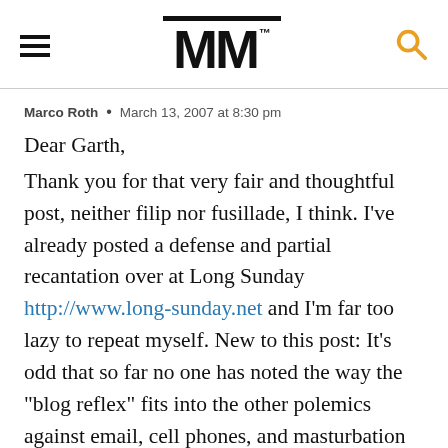MM
Marco Roth • March 13, 2007 at 8:30 pm
Dear Garth,
Thank you for that very fair and thoughtful post, neither filip nor fusillade, I think. I've already posted a defense and partial recantation over at Long Sunday http://www.long-sunday.net and I'm far too lazy to repeat myself. New to this post: It's odd that so far no one has noted the way the "blog reflex" fits into the other polemics against email, cell phones, and masturbation technologies. All of these are pretty much inescapable aspects of our lives. So, bloggers, please relax. You have arrived. No one will pull your plugs and they can't even if they wanted to